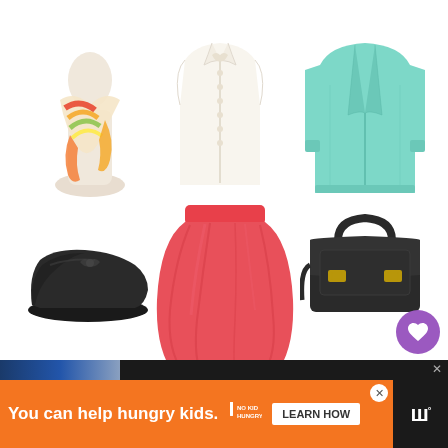[Figure (photo): Fashion outfit collage showing 6 clothing/accessory items: colorful scarf on mannequin bust (top left), white sleeveless button-up blouse (top center), teal/mint cardigan sweater (top right), black ballet flats with bow (bottom left), coral/red full midi skirt (bottom center), black leather satchel bag (bottom right). A purple heart/like button with count 10 and a share button are visible on the right side.]
10
[Figure (screenshot): Orange advertisement banner at bottom: 'You can help hungry kids.' with No Kid Hungry logo and 'LEARN HOW' button. Black brand bar on far right showing stylized 'W' logo with degree symbol.]